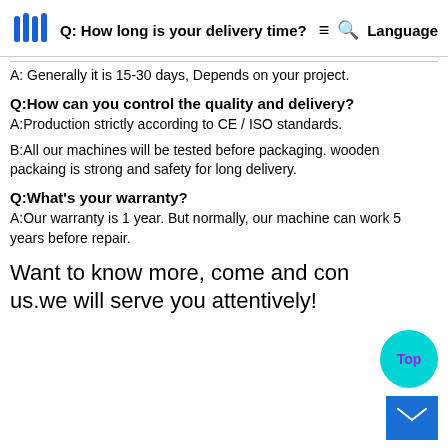Q: How long is your delivery time? [logo] ≡ 🔍 Language
A: Generally it is 15-30 days, Depends on your project.
Q:How can you control the quality and delivery?
A:Production strictly according to CE / ISO standards.
B:All our machines will be tested before packaging. wooden packaing is strong and safety for long delivery.
Q:What's your warranty?
A:Our warranty is 1 year. But normally, our machine can work 5 years before repair.
Want to know more, come and contact us.we will serve you attentively!